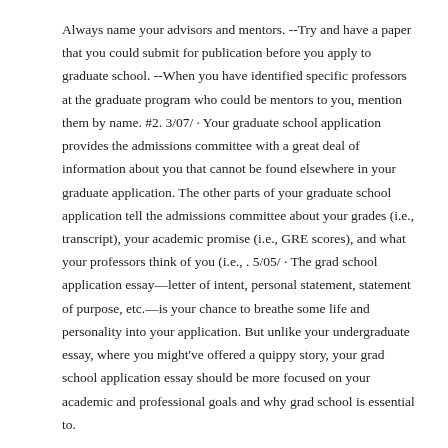Always name your advisors and mentors. --Try and have a paper that you could submit for publication before you apply to graduate school. --When you have identified specific professors at the graduate program who could be mentors to you, mention them by name. #2. 3/07/ · Your graduate school application provides the admissions committee with a great deal of information about you that cannot be found elsewhere in your graduate application. The other parts of your graduate school application tell the admissions committee about your grades (i.e., transcript), your academic promise (i.e., GRE scores), and what your professors think of you (i.e., . 5/05/ · The grad school application essay—letter of intent, personal statement, statement of purpose, etc.—is your chance to breathe some life and personality into your application. But unlike your undergraduate essay, where you might've offered a quippy story, your grad school application essay should be more focused on your academic and professional goals and why grad school is essential to.